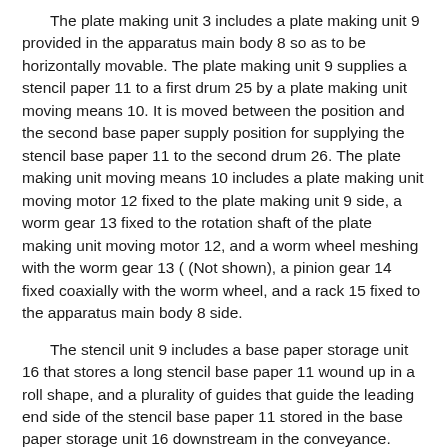The plate making unit 3 includes a plate making unit 9 provided in the apparatus main body 8 so as to be horizontally movable. The plate making unit 9 supplies a stencil paper 11 to a first drum 25 by a plate making unit moving means 10. It is moved between the position and the second base paper supply position for supplying the stencil base paper 11 to the second drum 26. The plate making unit moving means 10 includes a plate making unit moving motor 12 fixed to the plate making unit 9 side, a worm gear 13 fixed to the rotation shaft of the plate making unit moving motor 12, and a worm wheel meshing with the worm gear 13 ( (Not shown), a pinion gear 14 fixed coaxially with the worm wheel, and a rack 15 fixed to the apparatus main body 8 side.
The stencil unit 9 includes a base paper storage unit 16 that stores a long stencil base paper 11 wound up in a roll shape, and a plurality of guides that guide the leading end side of the stencil base paper 11 stored in the base paper storage unit 16 downstream in the conveyance. Transport roller 17, thermal head 18 disposed downstream of transport roller 17, platen roll 19 disposed at a position